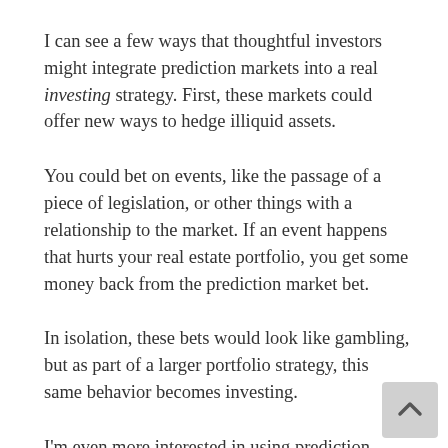I can see a few ways that thoughtful investors might integrate prediction markets into a real investing strategy. First, these markets could offer new ways to hedge illiquid assets.
You could bet on events, like the passage of a piece of legislation, or other things with a relationship to the market. If an event happens that hurts your real estate portfolio, you get some money back from the prediction market bet.
In isolation, these bets would look like gambling, but as part of a larger portfolio strategy, this same behavior becomes investing.
I'm even more interested in using prediction markets for research. Markets integrate a lot of diverse information and, over time, they tend to be more right, more often, than individuals. As an investor, I could use prediction market prices to better understand the risks of various future events, without